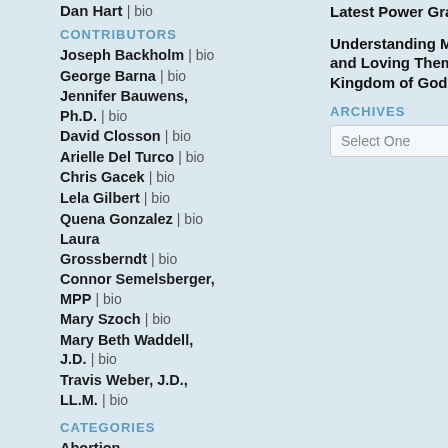Dan Hart | bio
CONTRIBUTORS
Joseph Backholm | bio
George Barna | bio
Jennifer Bauwens, Ph.D. | bio
David Closson | bio
Arielle Del Turco | bio
Chris Gacek | bio
Lela Gilbert | bio
Quena Gonzalez | bio
Laura Grossberndt | bio
Connor Semelsberger, MPP | bio
Mary Szoch | bio
Mary Beth Waddell, J.D. | bio
Travis Weber, J.D., LL.M. | bio
CATEGORIES
Abortion
Latest Power Grab Fails
Understanding Millennials and Loving Them Into the Kingdom of God
ARCHIVES
Select One